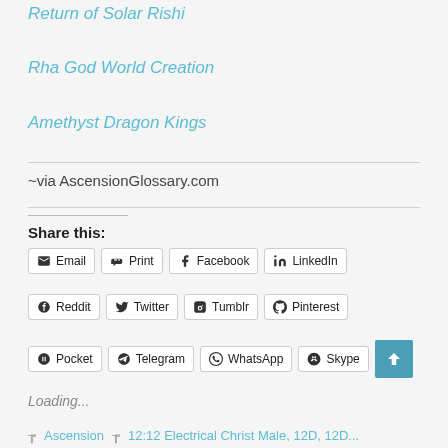Return of Solar Rishi
Rha God World Creation
Amethyst Dragon Kings
~via AscensionGlossary.com
Share this:
Email  Print  Facebook  LinkedIn  Reddit  Twitter  Tumblr  Pinterest  Pocket  Telegram  WhatsApp  Skype
Loading...
Ascension   12:12 Electrical Christ Male, 12D, 12D...